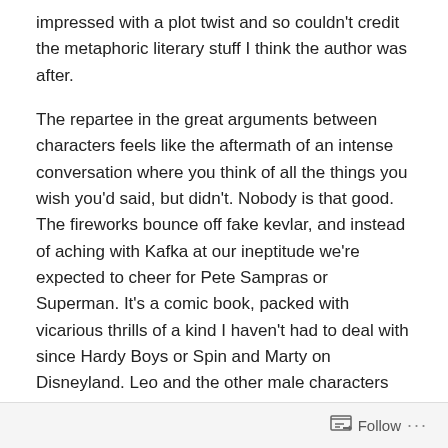impressed with a plot twist and so couldn't credit the metaphoric literary stuff I think the author was after.
The repartee in the great arguments between characters feels like the aftermath of an intense conversation where you think of all the things you wish you'd said, but didn't. Nobody is that good. The fireworks bounce off fake kevlar, and instead of aching with Kafka at our ineptitude we're expected to cheer for Pete Sampras or Superman. It's a comic book, packed with vicarious thrills of a kind I haven't had to deal with since Hardy Boys or Spin and Marty on Disneyland. Leo and the other male characters have too much of the juvenile cameraderie I can't help imagining Mr Conroy wishes he'd had, and thinks he now can make up. The grown-up me ain't buyin' it.
Follow ...